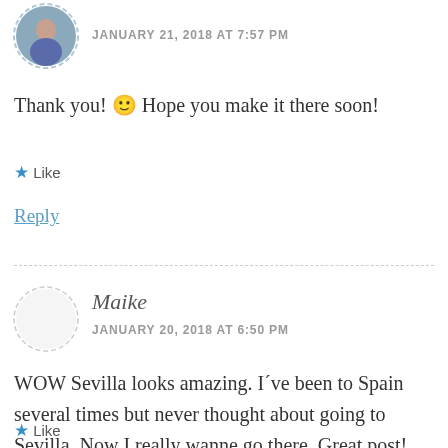[Figure (photo): Circular dashed-border avatar photo of a woman in a purple top outdoors]
JANUARY 21, 2018 AT 7:57 PM
Thank you! 🙂 Hope you make it there soon!
★ Like
Reply
Maike
JANUARY 20, 2018 AT 6:50 PM
WOW Sevilla looks amazing. I´ve been to Spain several times but never thought about going to Sevilla. Now I really wanne go there. Great post!
★ Like